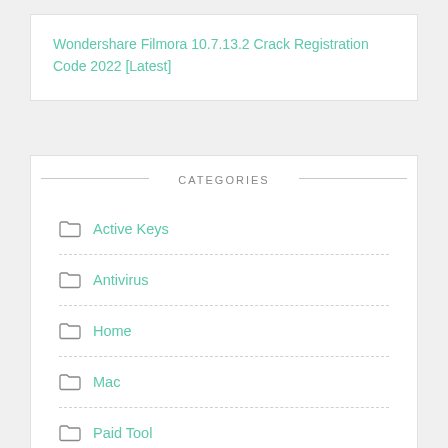Wondershare Filmora 10.7.13.2 Crack Registration Code 2022 [Latest]
CATEGORIES
Active Keys
Antivirus
Home
Mac
Paid Tool